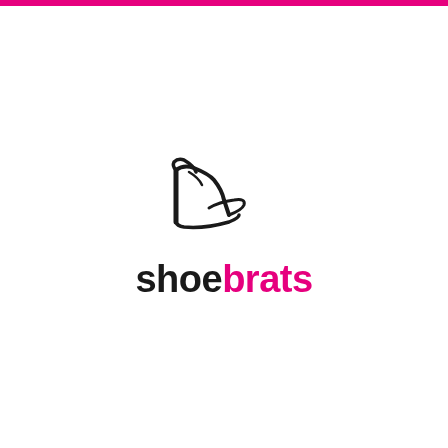[Figure (logo): Shoebrats logo: a stiletto high-heel shoe silhouette in black above the word 'shoe' in black bold lowercase and 'brats' in pink/magenta bold lowercase]